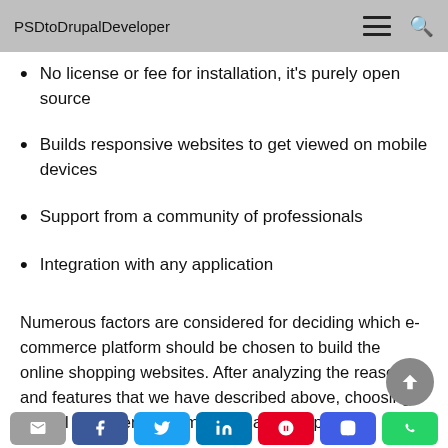PSDtoDrupalDeveloper
No license or fee for installation, it's purely open source
Builds responsive websites to get viewed on mobile devices
Support from a community of professionals
Integration with any application
Numerous factors are considered for deciding which e-commerce platform should be chosen to build the online shopping websites. After analyzing the reasons and features that we have described above, choosing Drupal Commerce seems to be a wise option.